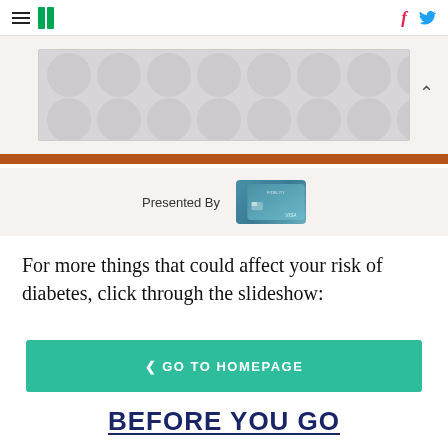HuffPost navigation header with hamburger menu, logo, Facebook and Twitter icons
[Figure (screenshot): Advertisement banner with grey polka dot pattern on white background]
Presented By [credit card image]
For more things that could affect your risk of diabetes, click through the slideshow:
< GO TO HOMEPAGE
BEFORE YOU GO